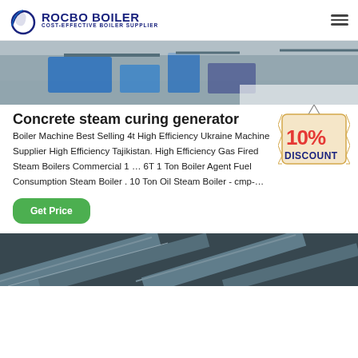ROCBO BOILER — COST-EFFECTIVE BOILER SUPPLIER
[Figure (photo): Industrial boiler facility interior with blue equipment and machinery]
Concrete steam curing generator
[Figure (infographic): 10% DISCOUNT badge/sign hanging]
Boiler Machine Best Selling 4t High Efficiency Ukraine Machine Supplier High Efficiency Tajikistan. High Efficiency Gas Fired Steam Boilers Commercial 1 … 6T 1 Ton Boiler Agent Fuel Consumption Steam Boiler . 10 Ton Oil Steam Boiler - cmp-…
[Figure (photo): Industrial HVAC/pipe ductwork on a factory ceiling, dark metallic pipes]